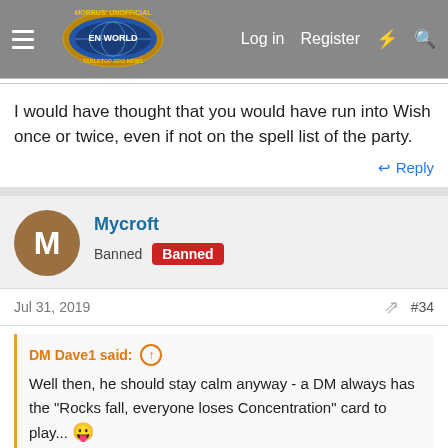Morrus' Unofficial Tabletop RPG News — Log in  Register
I would have thought that you would have run into Wish once or twice, even if not on the spell list of the party.
↩ Reply
Mycroft — Banned  Banned
Jul 31, 2019   #34
DM Dave1 said: ↑
Well then, he should stay calm anyway - a DM always has the "Rocks fall, everyone loses Concentration" card to play... 😛
Yeah, inadequate ones, with no set integrity for the